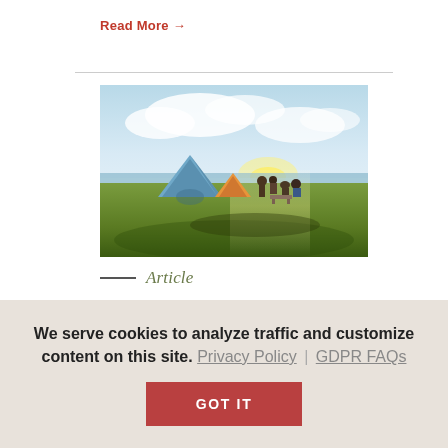Read More →
[Figure (photo): A family camping scene near a lake with tents set up on green grass, people sitting around a campfire area, sunny sky with clouds in the background.]
— Article
Camping R...
We serve cookies to analyze traffic and customize content on this site. Privacy Policy | GDPR FAQs
GOT IT